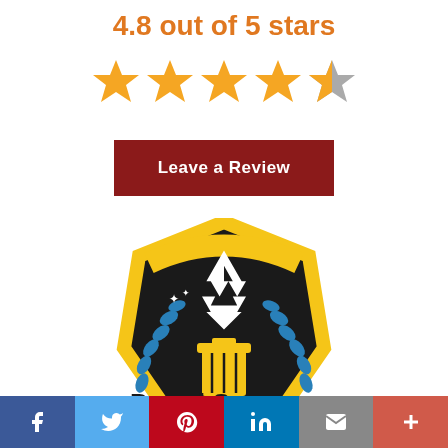4.8 out of 5 stars
[Figure (illustration): Five stars rating: four full gold stars and one half gold/half grey star]
Leave a Review
[Figure (logo): Waste & Recycling Workers Week badge logo with trash can, recycling symbol, blue laurel leaves on yellow/black hexagon badge]
Proud Sponsor
[Figure (infographic): Social sharing bar with icons: Facebook, Twitter, Pinterest, LinkedIn, Email, Plus]